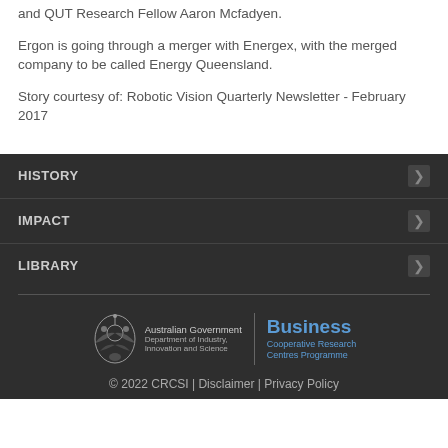and QUT Research Fellow Aaron Mcfadyen.
Ergon is going through a merger with Energex, with the merged company to be called Energy Queensland.
Story courtesy of: Robotic Vision Quarterly Newsletter - February 2017
HISTORY
IMPACT
LIBRARY
[Figure (logo): Australian Government Department of Industry, Innovation and Science logo alongside Business Cooperative Research Centres Programme logo]
© 2022 CRCSI | Disclaimer | Privacy Policy